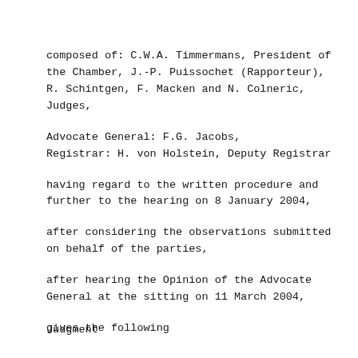composed of: C.W.A. Timmermans, President of the Chamber, J.-P. Puissochet (Rapporteur), R. Schintgen, F. Macken and N. Colneric, Judges,
Advocate General: F.G. Jacobs,
Registrar: H. von Holstein, Deputy Registrar
having regard to the written procedure and further to the hearing on 8 January 2004,
after considering the observations submitted on behalf of the parties,
after hearing the Opinion of the Advocate General at the sitting on 11 March 2004,
gives the following
Judgment